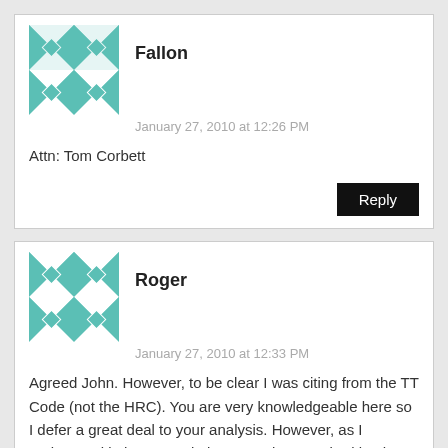Fallon
January 27, 2010 at 12:26 PM
Attn: Tom Corbett
Reply
Roger
January 27, 2010 at 12:33 PM
Agreed John. However, to be clear I was citing from the TT Code (not the HRC). You are very knowledgeable here so I defer a great deal to your analysis. However, as I understand it the TT Code is enacted as required by the HRC (Sec. 701 of the HRC) and in compliance with the enabling legislation – the MPC. Nonetheless, it is sort of a moot point because whatever you call it, it seems to have